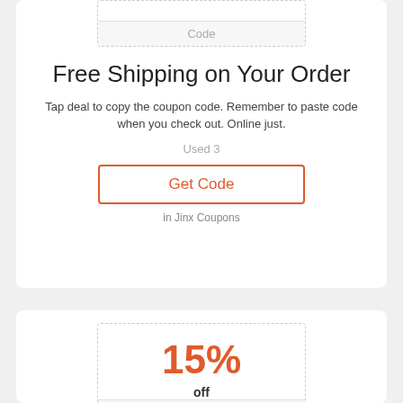Code
Free Shipping on Your Order
Tap deal to copy the coupon code. Remember to paste code when you check out. Online just.
Used 3
Get Code
in Jinx Coupons
15%
off
Code